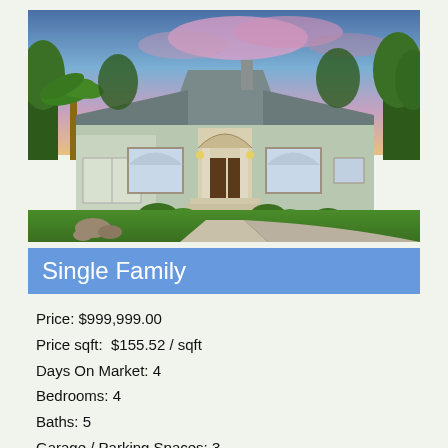[Figure (photo): Large single-family home with gray roof, arched entryway, wide driveway, lush green lawn, and palm trees. Dramatic sunset sky with pink and blue clouds in the background.]
Single Family
Price: $999,999.00
Price sqft:  $155.52 / sqft
Days On Market: 4
Bedrooms: 4
Baths: 5
Garage / Parking Spaces: 3